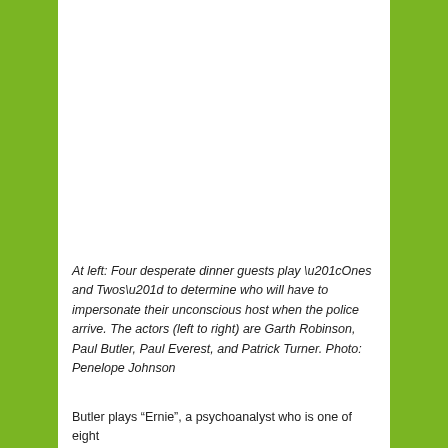[Figure (photo): A white rectangular area representing a photo (likely cropped/missing) showing four dinner guests playing a game.]
At left: Four desperate dinner guests play “Ones and Twos” to determine who will have to impersonate their unconscious host when the police arrive. The actors (left to right) are Garth Robinson, Paul Butler, Paul Everest, and Patrick Turner. Photo: Penelope Johnson
Butler plays “Ernie”, a psychoanalyst who is one of eight